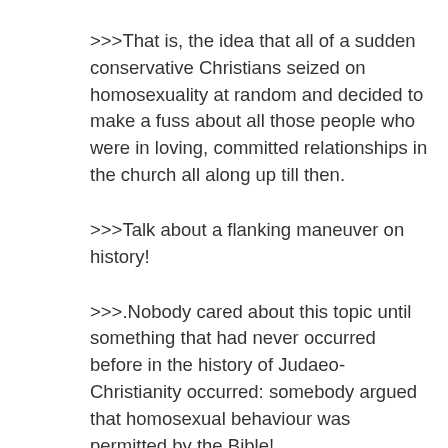>>>That is, the idea that all of a sudden conservative Christians seized on homosexuality at random and decided to make a fuss about all those people who were in loving, committed relationships in the church all along up till then.
>>>Talk about a flanking maneuver on history!
>>>.Nobody cared about this topic until something that had never occurred before in the history of Judaeo-Christianity occurred: somebody argued that homosexual behaviour was permitted by the Bible!
>>>>Then is when Christians got up in arms!